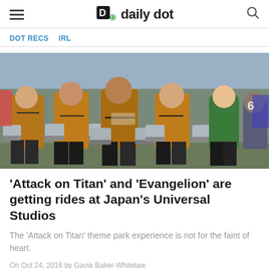daily dot
Dot Recs   IRL
[Figure (photo): Group of cosplayers dressed as Attack on Titan characters in brown jackets and 3D maneuver gear at a convention]
'Attack on Titan' and 'Evangelion' are getting rides at Japan's Universal Studios
The 'Attack on Titan' theme park experience is not for the faint of heart.
On Oct 24, 2016 by Gavia Baker-Whitelaw